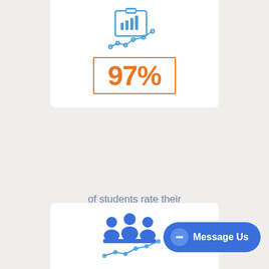[Figure (infographic): Line chart icon with upward trend on a clipboard, in blue outline style]
[Figure (infographic): Orange bordered box containing the statistic 97% in orange bold text]
of students rate their confidence
'improved-very much improved'
after this course.
[Figure (infographic): Blue icon of three people sitting at a meeting table with a line chart below]
[Figure (infographic): Blue rounded button labeled Message Us with chat bubble icon]